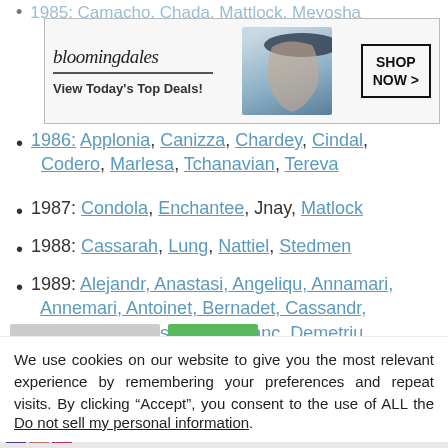1985: Camacho, Chada, Mattlock, Meyosha...
[Figure (infographic): Bloomingdale's advertisement banner: 'View Today's Top Deals!' with a model in a hat and SHOP NOW > button]
1986: Applonia, Canizza, Chardey, Cindal, Codero, Marlesa, Tchanavian, Tereva
1987: Condola, Enchantee, Jnay, Matlock
1988: Cassarah, Lung, Nattiel, Stedmen
1989: Alejandr, Anastasi, Angeliqu, Annamari, Annemari, Antoinet, Bernadet, Cassandr, Cassondr, Christop, Constanc, Demetriu, Dominiqu, Francisc, Geneviev, Jacqueli, Jacquely,
We use cookies on our website to give you the most relevant experience by remembering your preferences and repeat visits. By clicking “Accept”, you consent to the use of ALL the cookies.
Do not sell my personal information.
[Figure (infographic): MAC cosmetics advertisement with lipsticks and SHOP NOW button, with CLOSE button overlay]